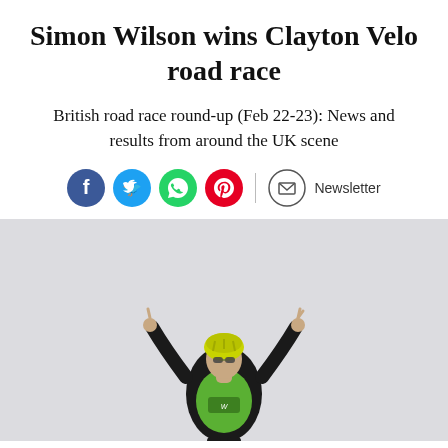Simon Wilson wins Clayton Velo road race
British road race round-up (Feb 22-23): News and results from around the UK scene
[Figure (infographic): Social sharing icons: Facebook (blue), Twitter (blue), WhatsApp (green), Pinterest (red), divider, Newsletter (envelope icon with text)]
[Figure (photo): A cyclist wearing a green and black cycling kit and yellow helmet raises both arms in a victory celebration pose against a light grey background.]